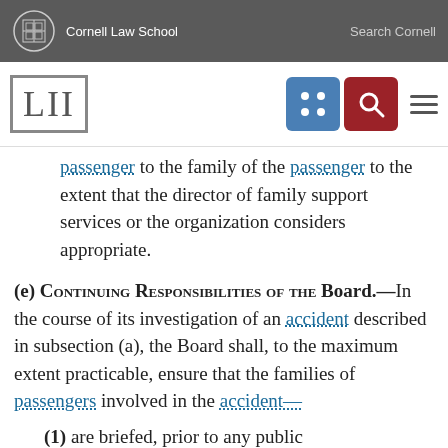Cornell Law School   Search Cornell
[Figure (logo): LII Cornell Law School navigation bar with blue grid icon and red search icon]
passenger to the family of the passenger to the extent that the director of family support services or the organization considers appropriate.
(e) Continuing Responsibilities of the Board.
—In the course of its investigation of an accident described in subsection (a), the Board shall, to the maximum extent practicable, ensure that the families of passengers involved in the accident—
(1) are briefed, prior to any public